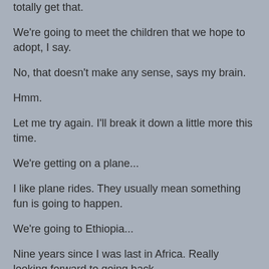totally get that.
We're going to meet the children that we hope to adopt, I say.
No, that doesn't make any sense, says my brain.
Hmm.
Let me try again. I'll break it down a little more this time.
We're getting on a plane...
I like plane rides. They usually mean something fun is going to happen.
We're going to Ethiopia...
Nine years since I was last in Africa. Really looking forward to going back.
When we get to Addis Ababa, A's brother will pick us up from the airport.